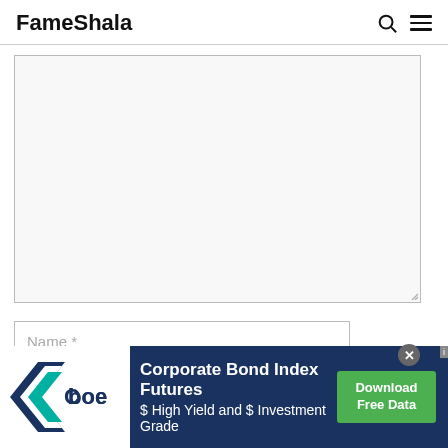FameShala
[Figure (screenshot): A website comment/form area showing a large empty textarea with light gray background, a Name* input field below it, and a partial email input field. Above is the FameShala site header with search and hamburger menu icons.]
[Figure (infographic): Cboe advertisement banner: dark navy background with Cboe logo (white chevron shape with teal green arrow element), text 'Corporate Bond Index Futures $ High Yield and $ Investment Grade', green Download Free Data button, close (X) button, and ad info tag in top right corner.]